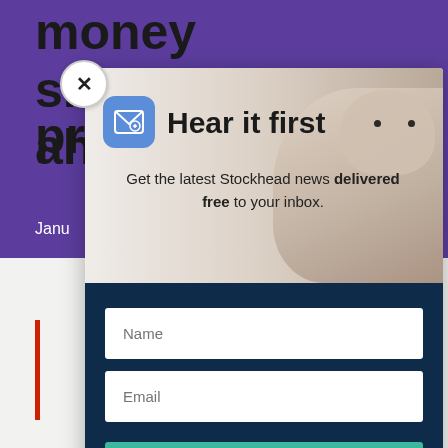[Figure (screenshot): Screenshot of a website popup modal overlay. The background shows a purple website page with partial text 'money smarts ahead of pr' and 'Janu' label in purple bar. A white modal dialog overlays, showing an email subscription form titled 'Hear it first' with a groundhog animal image, description text 'Get the latest Stockhead news delivered free to your inbox.', Name and Email input fields, and a teal 'SIGN ME UP' button. A close (X) button appears at top-left of modal.]